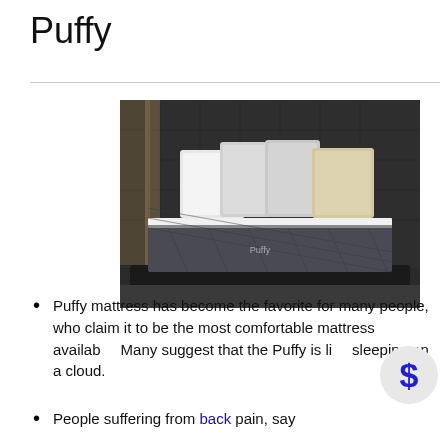Puffy
[Figure (photo): Photo of a Puffy mattress with white pillows on a bed frame against a dark quilted wall backdrop]
Puffy mattress has become the favorite for many people, who claim it to be the most comfortable mattress available. Many suggest that the Puffy is like sleeping on a cloud.
People suffering from back pain, say